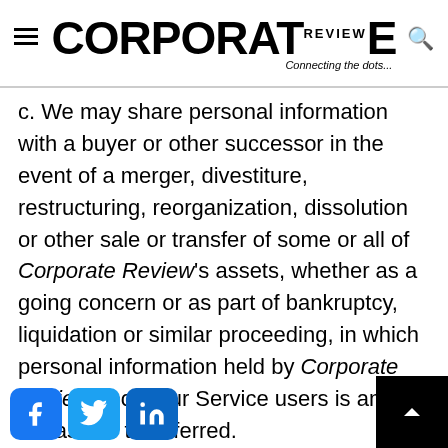CORPORATE REVIEW — Connecting the dots...
c. We may share personal information with a buyer or other successor in the event of a merger, divestiture, restructuring, reorganization, dissolution or other sale or transfer of some or all of Corporate Review's assets, whether as a going concern or as part of bankruptcy, liquidation or similar proceeding, in which personal information held by Corporate Review about our Service users is among the assets transferred.
d. We may share your information publicly and with our partners such as third-party content advertisers or connected sites, but in a